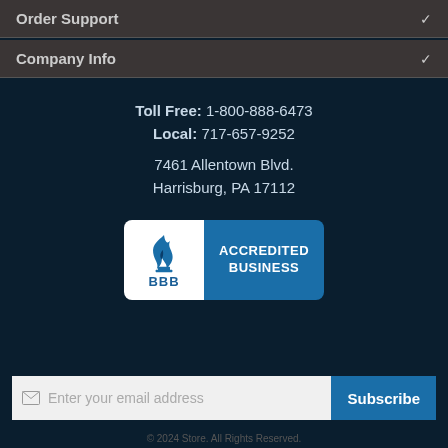Order Support
Company Info
Toll Free: 1-800-888-6473
Local: 717-657-9252
7461 Allentown Blvd.
Harrisburg, PA 17112
[Figure (logo): BBB Accredited Business badge with flame logo on white background and blue text panel]
Enter your email address
Subscribe